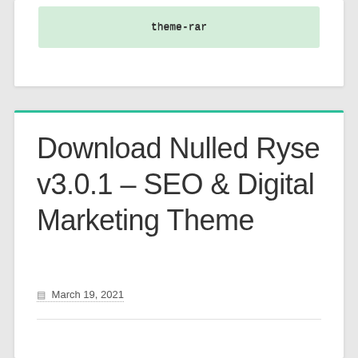theme-rar
Download Nulled Ryse v3.0.1 – SEO & Digital Marketing Theme
March 19, 2021
RYSE wordpress theme really is a Search...